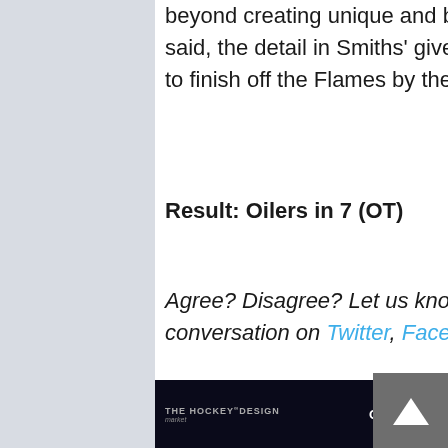beyond creating unique and beautiful pieces for their clients. That said, the detail in Smiths' gives the Oilers the tiny push they need to finish off the Flames by the smallest of margins
Result: Oilers in 7 (OT)
Agree? Disagree? Let us know in the comments below or join the conversation on Twitter, Facebook, or Instagram!
[Figure (other): Advertisement banner for The Hockey Design Market - Playoff Sale 20% off]